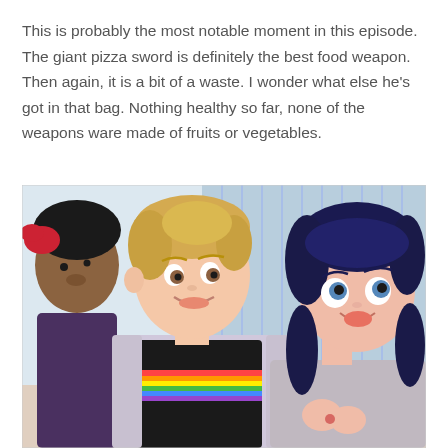This is probably the most notable moment in this episode. The giant pizza sword is definitely the best food weapon. Then again, it is a bit of a waste. I wonder what else he's got in that bag. Nothing healthy so far, none of the weapons ware made of fruits or vegetables.
[Figure (photo): Screenshot from an animated TV show (Miraculous Ladybug) showing three animated characters. On the left is a dark-skinned character partially visible. In the center is a blonde male character with a light jacket over a black top with a rainbow stripe, smiling sideways. On the right is a dark blue-haired female character in a grey top, looking upward with an excited expression. Background shows a bright interior with vertical window blinds.]